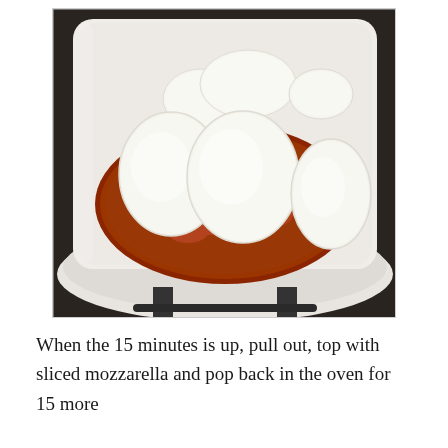[Figure (photo): A white ceramic baking dish or slow cooker containing chicken or meat covered in chunky tomato sauce, topped with several large slices of fresh mozzarella cheese arranged across the top.]
When the 15 minutes is up, pull out, top with sliced mozzarella and pop back in the oven for 15 more